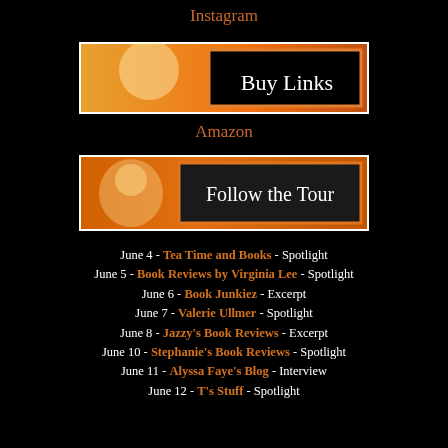Instagram
[Figure (illustration): Buy Links banner with orange gradient background and script text 'Buy Links' in white on black box]
Amazon
[Figure (illustration): Follow the Tour banner with orange background and script text 'Follow the Tour' in white]
June 4 - Tea Time and Books - Spotlight
June 5 - Book Reviews by Virginia Lee - Spotlight
June 6 - Book Junkiez - Excerpt
June 7 - Valerie Ullmer - Spotlight
June 8 - Jazzy's Book Reviews - Excerpt
June 10 - Stephanie's Book Reviews - Spotlight
June 11 - Alyssa Faye's Blog - Interview
June 12 - T's Stuff - Spotlight